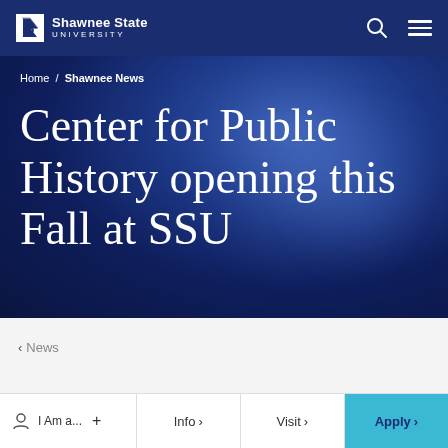Shawnee State University
Home / Shawnee News
Center for Public History opening this Fall at SSU
< News
I Am a... + | Info > | Visit > | Apply >